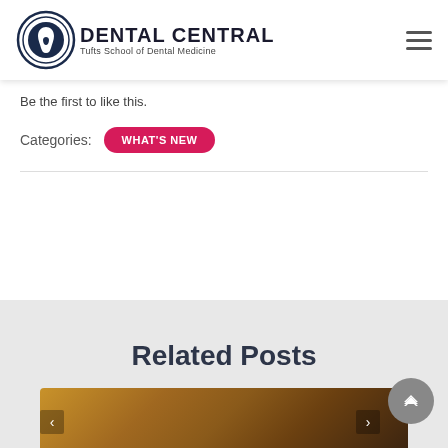[Figure (logo): Dental Central logo with circular tooth icon and text 'DENTAL CENTRAL - Tufts School of Dental Medicine']
Be the first to like this.
Categories:  WHAT'S NEW
Related Posts
[Figure (photo): Blurred warm-toned brown/golden background photo, bottom portion of a related post card]